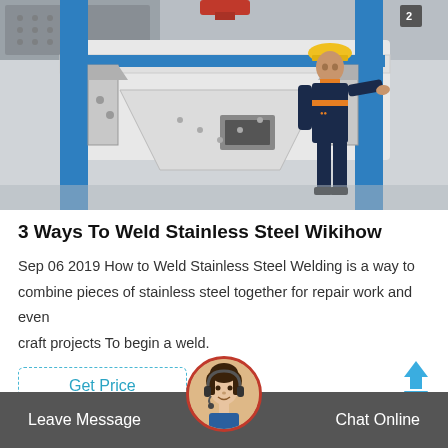[Figure (photo): Industrial machine (crusher/VSI) with a worker in yellow hard hat and dark blue uniform standing next to it in a factory setting. Machine has blue metal frame and white/grey equipment body.]
3 Ways To Weld Stainless Steel Wikihow
Sep 06 2019 How to Weld Stainless Steel Welding is a way to combine pieces of stainless steel together for repair work and even craft projects To begin a weld.
Get Price
Leave Message
Chat Online